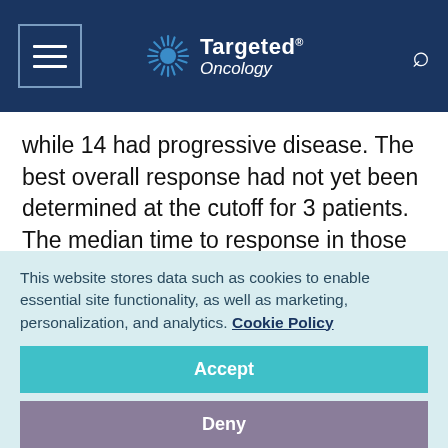Targeted Oncology
while 14 had progressive disease. The best overall response had not yet been determined at the cutoff for 3 patients. The median time to response in those treated with combination therapy was 2.8 months and the responses were durable; median duration of response was not reached while 94% of responders had ongoing responses at the data cutoff.
This website stores data such as cookies to enable essential site functionality, as well as marketing, personalization, and analytics. Cookie Policy
Accept
Deny